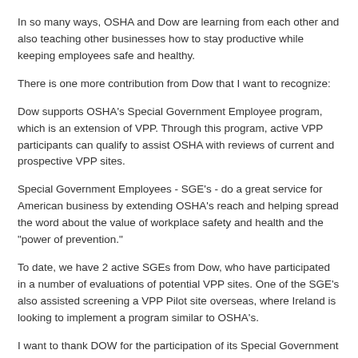In so many ways, OSHA and Dow are learning from each other and also teaching other businesses how to stay productive while keeping employees safe and healthy.
There is one more contribution from Dow that I want to recognize:
Dow supports OSHA's Special Government Employee program, which is an extension of VPP. Through this program, active VPP participants can qualify to assist OSHA with reviews of current and prospective VPP sites.
Special Government Employees - SGE's - do a great service for American business by extending OSHA's reach and helping spread the word about the value of workplace safety and health and the "power of prevention."
To date, we have 2 active SGEs from Dow, who have participated in a number of evaluations of potential VPP sites. One of the SGE's also assisted screening a VPP Pilot site overseas, where Ireland is looking to implement a program similar to OSHA's.
I want to thank DOW for the participation of its Special Government